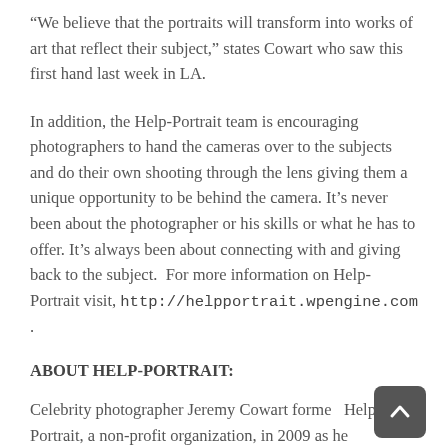“We believe that the portraits will transform into works of art that reflect their subject,” states Cowart who saw this first hand last week in LA.
In addition, the Help-Portrait team is encouraging photographers to hand the cameras over to the subjects and do their own shooting through the lens giving them a unique opportunity to be behind the camera. It’s never been about the photographer or his skills or what he has to offer. It’s always been about connecting with and giving back to the subject.  For more information on Help-Portrait visit, http://helpportrait.wpengine.com .
ABOUT HELP-PORTRAIT:
Celebrity photographer Jeremy Cowart formed Help-Portrait, a non-profit organization, in 2009 as he contemplated using his skills and expertise to give back